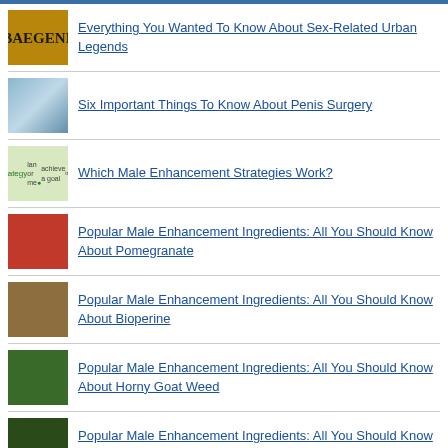Everything You Wanted To Know About Sex-Related Urban Legends
Six Important Things To Know About Penis Surgery
Which Male Enhancement Strategies Work?
Popular Male Enhancement Ingredients: All You Should Know About Pomegranate
Popular Male Enhancement Ingredients: All You Should Know About Bioperine
Popular Male Enhancement Ingredients: All You Should Know About Horny Goat Weed
Popular Male Enhancement Ingredients: All You Should Know About Yohimbine HCL